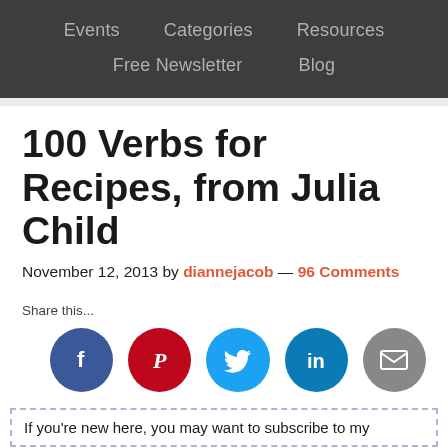Events   Categories   Resources   Free Newsletter   Blog
100 Verbs for Recipes, from Julia Child
November 12, 2013 by diannejacob — 96 Comments
Share this...
[Figure (infographic): Social share buttons: Facebook, Pinterest, Twitter, LinkedIn, Email]
If you're new here, you may want to subscribe to my